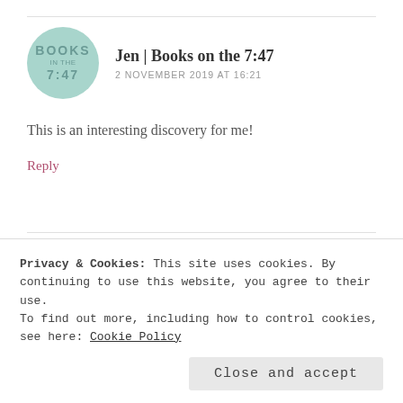[Figure (illustration): Circular avatar with teal/mint background showing 'BOOKS IN THE 7:47' text for blog 'Books on the 7:47']
Jen | Books on the 7:47
2 NOVEMBER 2019 AT 16:21
This is an interesting discovery for me!
Reply
[Figure (photo): Circular profile photo showing a grey winter landscape with trees and mountains]
jessicabookworm
2 NOVEMBER 2019 AT 17:41
Privacy & Cookies: This site uses cookies. By continuing to use this website, you agree to their use.
To find out more, including how to control cookies, see here: Cookie Policy
Close and accept